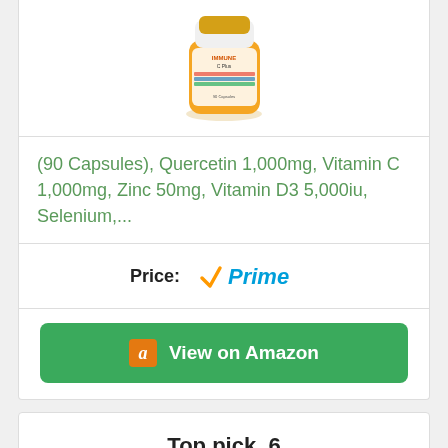[Figure (photo): Product image of Immune C Plus supplement bottle with orange label]
(90 Capsules), Quercetin 1,000mg, Vitamin C 1,000mg, Zinc 50mg, Vitamin D3 5,000iu, Selenium,...
Price:
[Figure (logo): Amazon Prime logo with orange checkmark and blue italic text]
[Figure (other): View on Amazon green button with Amazon 'a' icon]
Top pick. 6
[Figure (photo): Brown supplement bottle with gold lid, partially visible]